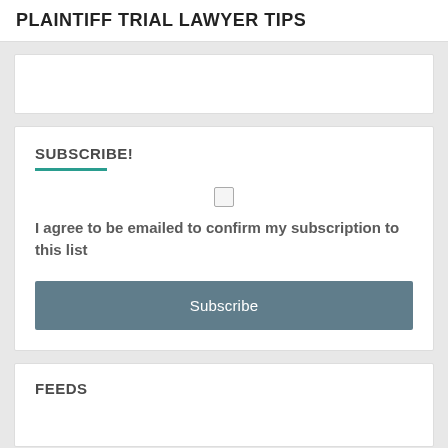PLAINTIFF TRIAL LAWYER TIPS
SUBSCRIBE!
I agree to be emailed to confirm my subscription to this list
Subscribe
FEEDS